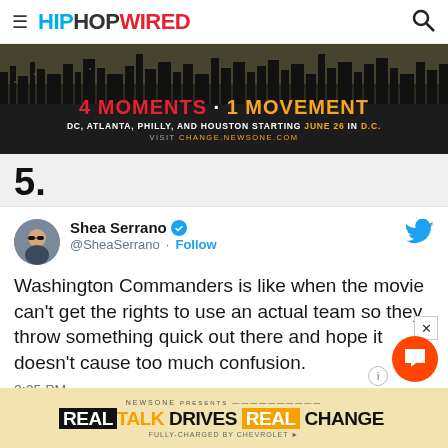HIPHOPWIRED
[Figure (infographic): Advertisement banner: '4 MOMENTS · 1 MOVEMENT DC, ATLANTA, PHILLY, AND HOUSTON STARTING JUNE 26 IN D.C. VISIT CHANGE.NEWSONE.COM' on dark background with city skyline silhouette]
5.
[Figure (screenshot): Tweet by Shea Serrano (@SheaSerrano): 'Washington Commanders is like when the movie can't get the rights to use an actual team so they throw something quick out there and hope it doesn't cause too much confusion.' 2:25 PM]
[Figure (infographic): NewsOne advertisement: REAL TALK DRIVES REAL CHANGE, FULLY-CHARGED BY CHEVROLET]